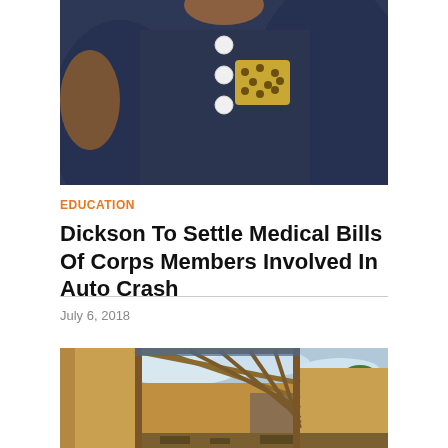[Figure (photo): Close-up photo of a person wearing a dark navy blue outfit with white round buttons and a polka-dot pocket detail]
EDUCATION
Dickson To Settle Medical Bills Of Corps Members Involved In Auto Crash
July 6, 2018
[Figure (photo): Photo of an abandoned or dilapidated building interior with no roof, showing wooden roof beams against a cloudy sky, with deteriorated yellow-brown walls and debris on the floor]